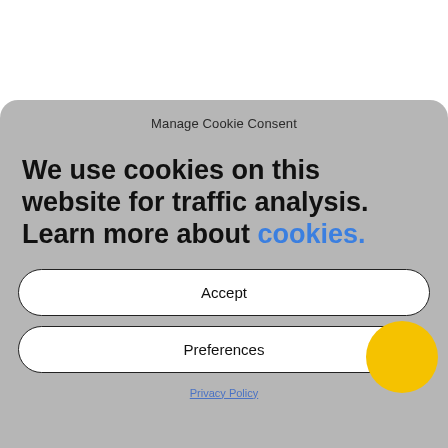[Figure (logo): LDN HIRE logo with stylized letters I, D, N and text LDN HIRE below]
[Figure (other): Hamburger menu button (three horizontal lines) in a rounded rectangle border]
Manage Cookie Consent
We use cookies on this website for traffic analysis. Learn more about cookies.
Accept
Preferences
Privacy Policy